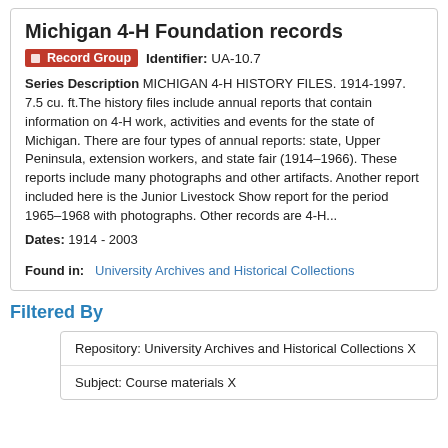Michigan 4-H Foundation records
Record Group   Identifier: UA-10.7
Series Description MICHIGAN 4-H HISTORY FILES. 1914-1997. 7.5 cu. ft.The history files include annual reports that contain information on 4-H work, activities and events for the state of Michigan. There are four types of annual reports: state, Upper Peninsula, extension workers, and state fair (1914–1966). These reports include many photographs and other artifacts. Another report included here is the Junior Livestock Show report for the period 1965–1968 with photographs. Other records are 4-H...
Dates: 1914 - 2003
Found in:   University Archives and Historical Collections
Filtered By
Repository: University Archives and Historical Collections X
Subject: Course materials X